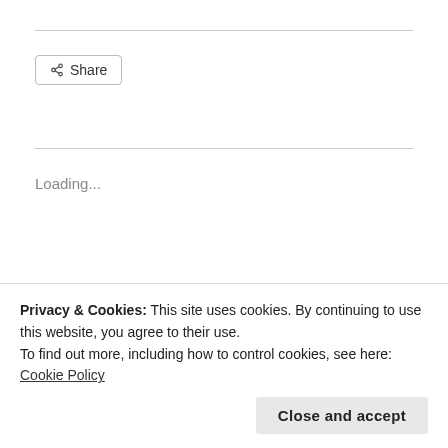[Figure (other): Share button with share icon]
Loading...
Aidan Badinger / June 29, 2018 / Poetry / Apparatus, Aside from, Authoritarian, Avocado, Carnival, Catch a Break, Charged, Codependent, Colorado, Couldn't Possibly, Defending,
Privacy & Cookies: This site uses cookies. By continuing to use this website, you agree to their use.
To find out more, including how to control cookies, see here: Cookie Policy
Close and accept
The Less Fortunate, The Next Fella, The World, Toot, Tragic,